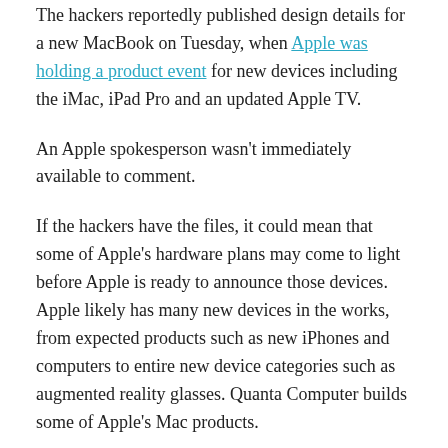The hackers reportedly published design details for a new MacBook on Tuesday, when Apple was holding a product event for new devices including the iMac, iPad Pro and an updated Apple TV.
An Apple spokesperson wasn't immediately available to comment.
If the hackers have the files, it could mean that some of Apple's hardware plans may come to light before Apple is ready to announce those devices. Apple likely has many new devices in the works, from expected products such as new iPhones and computers to entire new device categories such as augmented reality glasses. Quanta Computer builds some of Apple's Mac products.
Quanta confirmed an attack to Bloomberg and said it's working with law enforcement. The company also said that